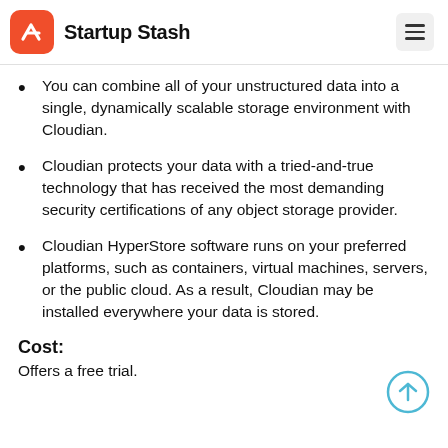Startup Stash
You can combine all of your unstructured data into a single, dynamically scalable storage environment with Cloudian.
Cloudian protects your data with a tried-and-true technology that has received the most demanding security certifications of any object storage provider.
Cloudian HyperStore software runs on your preferred platforms, such as containers, virtual machines, servers, or the public cloud. As a result, Cloudian may be installed everywhere your data is stored.
Cost:
Offers a free trial.